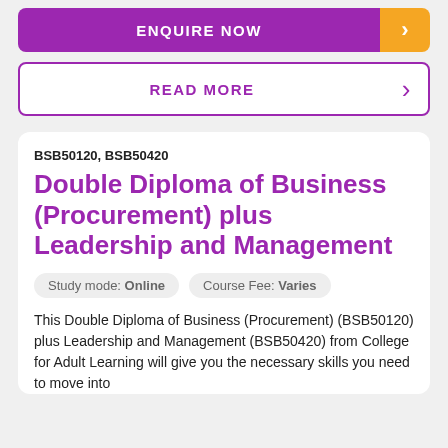[Figure (other): Enquire Now button with purple background and orange arrow]
[Figure (other): Read More button with purple border and purple arrow]
BSB50120, BSB50420
Double Diploma of Business (Procurement) plus Leadership and Management
Study mode: Online
Course Fee: Varies
This Double Diploma of Business (Procurement) (BSB50120) plus Leadership and Management (BSB50420) from College for Adult Learning will give you the necessary skills you need to move into